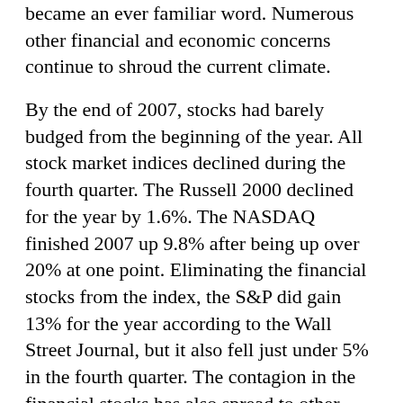became an ever familiar word. Numerous other financial and economic concerns continue to shroud the current climate.
By the end of 2007, stocks had barely budged from the beginning of the year. All stock market indices declined during the fourth quarter. The Russell 2000 declined for the year by 1.6%. The NASDAQ finished 2007 up 9.8% after being up over 20% at one point. Eliminating the financial stocks from the index, the S&P did gain 13% for the year according to the Wall Street Journal, but it also fell just under 5% in the fourth quarter. The contagion in the financial stocks has also spread to other sectors especially in the early days of this New Year. Bonds fared very nicely in 2007. Interest rates finally fell and bonds posted a 7% total return.
Peregrine Returns and Strategy
The Peregrine Composite benchmarks in 2007...